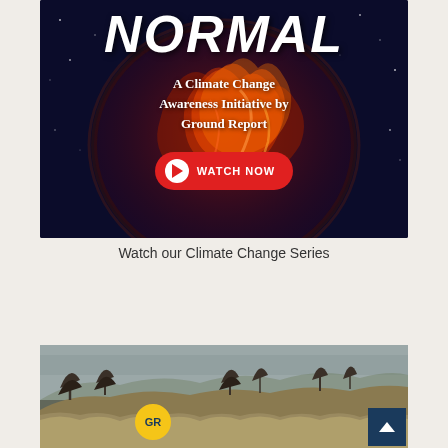[Figure (illustration): Dark space background with a fiery planet (Earth-like globe with red/orange fire covering it), featuring the large bold italic text 'NORMAL' at top, subtitle 'A Climate Change Awareness Initiative by Ground Report', and a red 'WATCH NOW' button with play icon.]
Watch our Climate Change Series
[Figure (photo): Landscape photo showing barren hillside with dry grass and sparse leafless trees against an overcast sky. A circular GR (Ground Report) logo badge is visible at the bottom left.]